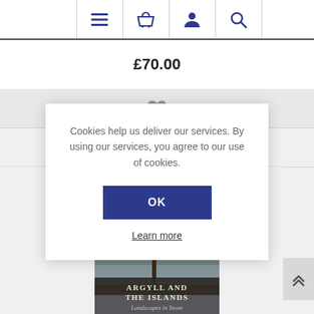Navigation bar with menu, basket, account, and search icons
£70.00
[Figure (illustration): Gray heart/wishlist icon]
Cookies help us deliver our services. By using our services, you agree to our use of cookies.
OK
Learn more
[Figure (photo): Book cover: Argyll and the Islands – Landscapes in Stone, showing a lone tree reflected in water under a dramatic sky]